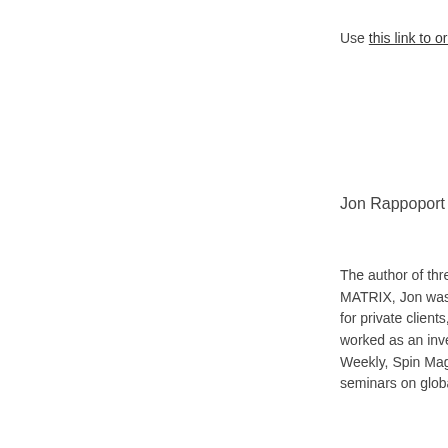Use this link to order Jon's
Jon Rappoport
The author of three explos MATRIX, Jon was a candio for private clients, the purp worked as an investigative Weekly, Spin Magazine, S seminars on global politics
You can find this article and
Vaccines
Go Back
Related in this Ca
Judge blocks Air Force
Haiti Did Not Vaccinate in the World
SOTN: Biden goes aff